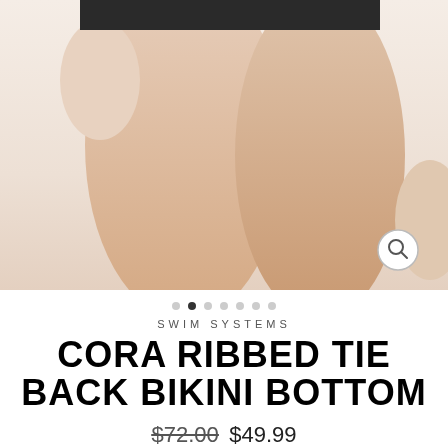[Figure (photo): Close-up photo of a model wearing a bikini bottom, showing legs and lower torso against a white background. A magnifying glass zoom icon is visible in the lower right corner.]
• • • • • • •  (carousel dots, second dot active)
SWIM SYSTEMS
CORA RIBBED TIE BACK BIKINI BOTTOM
$72.00  $49.99
Shipping calculated at checkout.